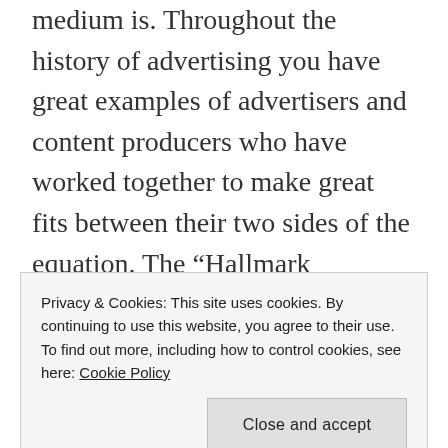medium is. Throughout the history of advertising you have great examples of advertisers and content producers who have worked together to make great fits between their two sides of the equation. The “Hallmark Showcase” series of TV shows comes to mind. They wanted a really specific type of content for their ads, so they commissioned it themselves.
Internet publishing and blogging are, generally, narrower media than the MSM. So they will,
Privacy & Cookies: This site uses cookies. By continuing to use this website, you agree to their use.
To find out more, including how to control cookies, see here: Cookie Policy
Close and accept